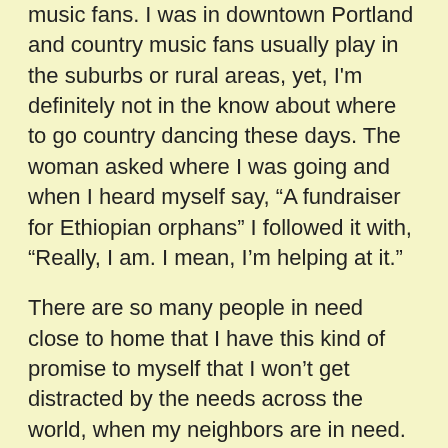music fans. I was in downtown Portland and country music fans usually play in the suburbs or rural areas, yet, I'm definitely not in the know about where to go country dancing these days. The woman asked where I was going and when I heard myself say, “A fundraiser for Ethiopian orphans” I followed it with, “Really, I am. I mean, I’m helping at it.”
There are so many people in need close to home that I have this kind of promise to myself that I won't get distracted by the needs across the world, when my neighbors are in need. That when my friend who is suffering from cancer and another good acquaintance recently died, that my energies will be put toward those things if I'm asked. With my sparse resources I have chosen Compassion First and Young Life as the two organizations I donate to consistently. And the way I work toward my dream of helping single moms, is to help single moms. When a single mom friend I know needs something, I do my best to be a resource for her. So, along to dd the e world that to meet an ten find at a of